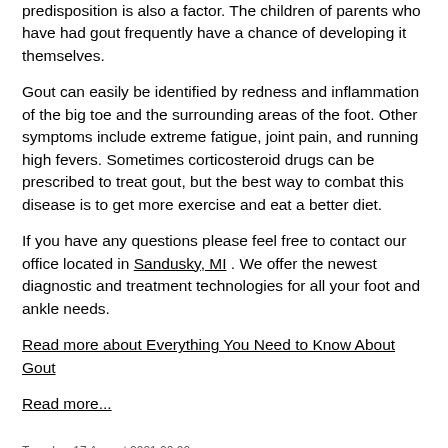predisposition is also a factor. The children of parents who have had gout frequently have a chance of developing it themselves.
Gout can easily be identified by redness and inflammation of the big toe and the surrounding areas of the foot. Other symptoms include extreme fatigue, joint pain, and running high fevers. Sometimes corticosteroid drugs can be prescribed to treat gout, but the best way to combat this disease is to get more exercise and eat a better diet.
If you have any questions please feel free to contact our office located in Sandusky, MI . We offer the newest diagnostic and treatment technologies for all your foot and ankle needs.
Read more about Everything You Need to Know About Gout
Read more...
Tuesday, 17 August 2021 00:00
Heel Pain Can Affect More Than the Heel